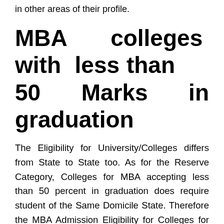in other areas of their profile.
MBA colleges with less than 50 Marks in graduation
The Eligibility for University/Colleges differs from State to State too. As for the Reserve Category, Colleges for MBA accepting less than 50 percent in graduation does require student of the Same Domicile State. Therefore the MBA Admission Eligibility for Colleges for MBA that don't require 50 percent in graduation is as following:-
“Pass with minimum Three-year Duration Bachelor’s Degree or Four Years award by